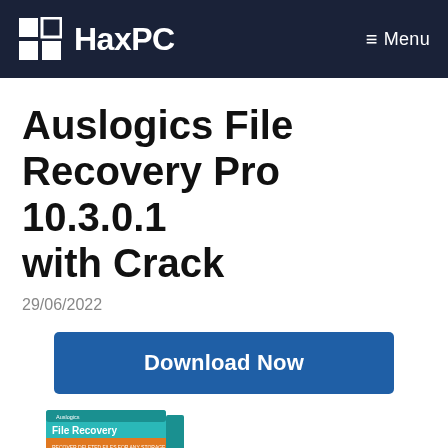HaxPC   Menu
Auslogics File Recovery Pro 10.3.0.1 with Crack
29/06/2022
[Figure (other): Blue 'Download Now' button]
[Figure (photo): Auslogics File Recovery software box product image with teal/green color scheme and orange stripe, showing a device recovery icon]